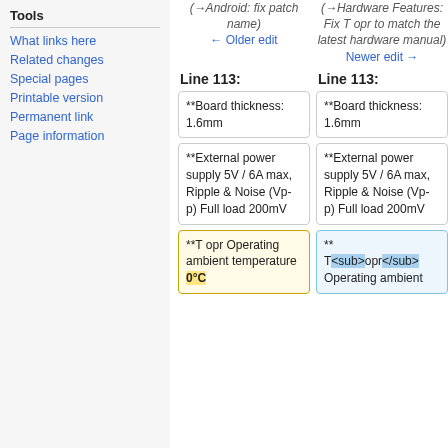Tools
What links here
Related changes
Special pages
Printable version
Permanent link
Page information
(→Android: fix patch name)
← Older edit
(→Hardware Features: Fix T opr to match the latest hardware manual)
Newer edit →
Line 113:
Line 113:
**Board thickness: 1.6mm
**Board thickness: 1.6mm
**External power supply 5V / 6A max, Ripple & Noise (Vp-p) Full load 200mV
**External power supply 5V / 6A max, Ripple & Noise (Vp-p) Full load 200mV
**T opr Operating ambient temperature 0°C
** T<sub>opr</sub> Operating ambient